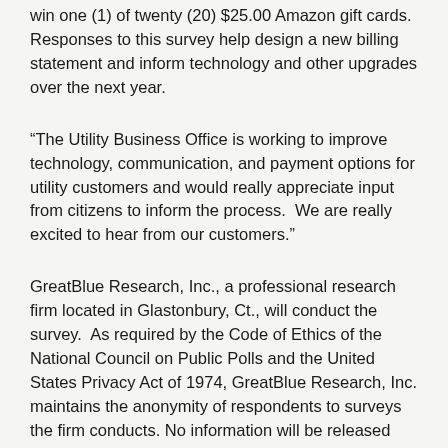win one (1) of twenty (20) $25.00 Amazon gift cards. Responses to this survey help design a new billing statement and inform technology and other upgrades over the next year.
“The Utility Business Office is working to improve technology, communication, and payment options for utility customers and would really appreciate input from citizens to inform the process.  We are really excited to hear from our customers.”
GreatBlue Research, Inc., a professional research firm located in Glastonbury, Ct., will conduct the survey.  As required by the Code of Ethics of the National Council on Public Polls and the United States Privacy Act of 1974, GreatBlue Research, Inc. maintains the anonymity of respondents to surveys the firm conducts. No information will be released that might, in any way, reveal the identity of the respondent.
Customers can access the digital survey by scanning the QR code on flyers mailed with customers’ utility bills and posted at the Utility Business Office – 291 W. Water St.